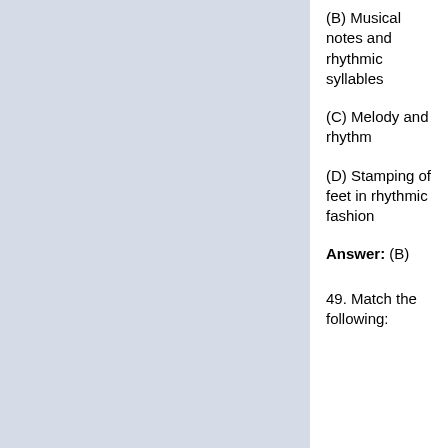(B) Musical notes and rhythmic syllables
(C) Melody and rhythm
(D) Stamping of feet in rhythmic fashion
Answer: (B)
49. Match the following: